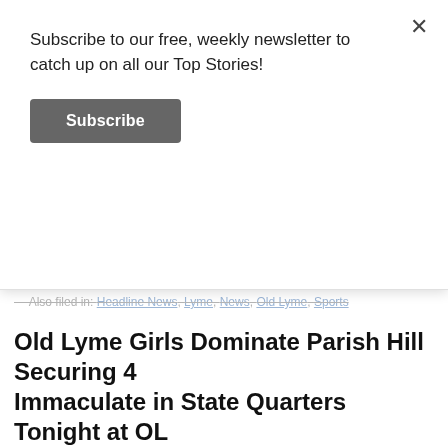Subscribe to our free, weekly newsletter to catch up on all our Top Stories!
Subscribe
× (close button)
Also filed in: Headline News, Lyme, News, Old Lyme, Sports
Old Lyme Girls Dominate Parish Hill Securing 4 Immaculate in State Quarters Tonight at OL
March 8, 2022 by Admin
[Figure (photo): Two girls playing basketball in a gym; one in a blue jersey and one in a white jersey with number 21, appearing to contest for the ball near teal padded gym walls.]